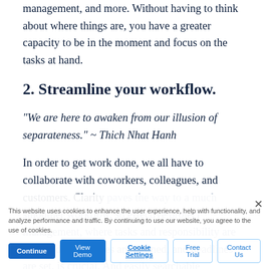management, and more. Without having to think about where things are, you have a greater capacity to be in the moment and focus on the tasks at hand.
2. Streamline your workflow.
“We are here to awaken from our illusion of separateness.” ~ Thich Nhat Hanh
In order to get work done, we all have to collaborate with coworkers, colleagues, and customers. Clarity paves the way to a much smoother workflow, so effective project management, where tasks and responsibility are assigned, milestones are defined, and deadlines are set, is crucial. And easily searchable conversation threads. a central location for all… lar allows… your
This website uses cookies to enhance the user experience, help with functionality, and analyze performance and traffic. By continuing to use our website, you agree to the use of cookies.